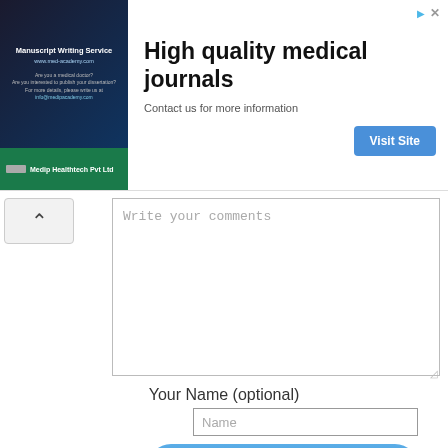[Figure (screenshot): Advertisement banner for Manuscript Writing Service by Medip Healthtech Pvt Ltd promoting high quality medical journals with a Visit Site button]
Write your comments
Your Name (optional)
Name
Post
[Figure (other): Donate button with PayPal styling and payment icons (Mastercard, Maestro, VISA, VISA Electron, American Express, Direct Debit)]
Contact Free Map Tools | Disclaimer | Sitemap XML | © Free Map Tools